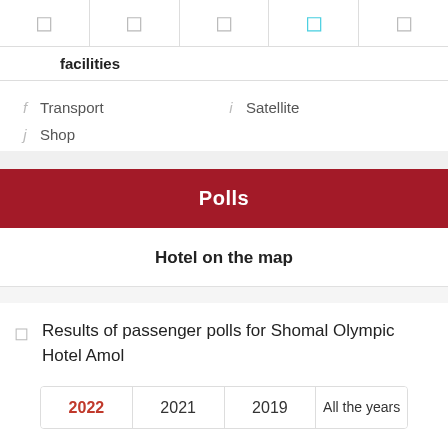[Figure (other): Row of 5 icon cells at top, with icons representing hotel facilities categories; the 4th icon is highlighted in teal/cyan]
facilities
f  Transport
i  Satellite
j  Shop
Polls
Hotel on the map
Results of passenger polls for Shomal Olympic Hotel Amol
| 2022 | 2021 | 2019 | All the years |
| --- | --- | --- | --- |